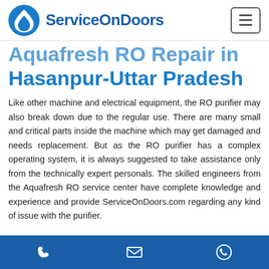ServiceOnDoors
Aquafresh RO Repair in Hasanpur-Uttar Pradesh
Like other machine and electrical equipment, the RO purifier may also break down due to the regular use. There are many small and critical parts inside the machine which may get damaged and needs replacement. But as the RO purifier has a complex operating system, it is always suggested to take assistance only from the technically expert personals. The skilled engineers from the Aquafresh RO service center have complete knowledge and experience and provide ServiceOnDoors.com regarding any kind of issue with the purifier.
Phone | Email | WhatsApp